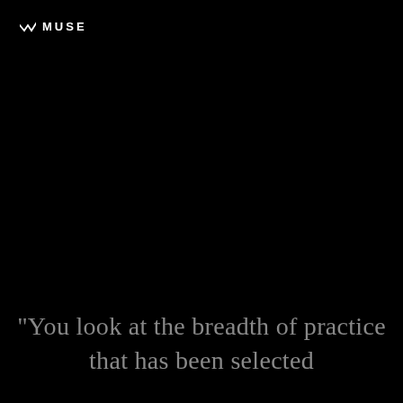MUSE
"You look at the breadth of practice that has been selected